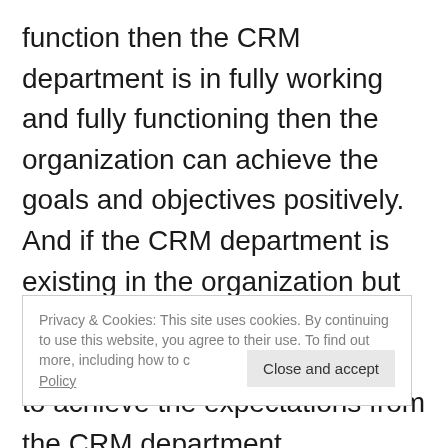function then the CRM department is in fully working and fully functioning then the organization can achieve the goals and objectives positively. And if the CRM department is existing in the organization but is not functioning fully then it is very hard for the organizations to achieve the expectations from the CRM department
Privacy & Cookies: This site uses cookies. By continuing to use this website, you agree to their use. To find out more, including how to control cookies, see here: Cookie Policy